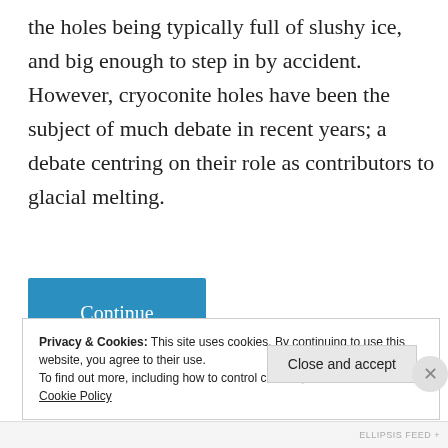the holes being typically full of slushy ice, and big enough to step in by accident. However, cryoconite holes have been the subject of much debate in recent years; a debate centring on their role as contributors to glacial melting.
[Figure (other): Blue 'Continue reading' button]
Privacy & Cookies: This site uses cookies. By continuing to use this website, you agree to their use.
To find out more, including how to control cookies, see here:
Cookie Policy
Close and accept
ELLIPSIS FEED +